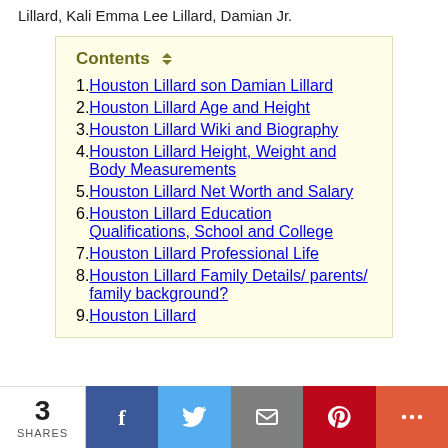Lillard, Kali Emma Lee Lillard, Damian Jr.
Contents
1. Houston Lillard son Damian Lillard
2. Houston Lillard Age and Height
3. Houston Lillard Wiki and Biography
4. Houston Lillard Height, Weight and Body Measurements
5. Houston Lillard Net Worth and Salary
6. Houston Lillard Education Qualifications, School and College
7. Houston Lillard Professional Life
8. Houston Lillard Family Details/ parents/ family background?
9. Houston Lillard
3 SHARES | Facebook | Twitter | Email | Pinterest | More